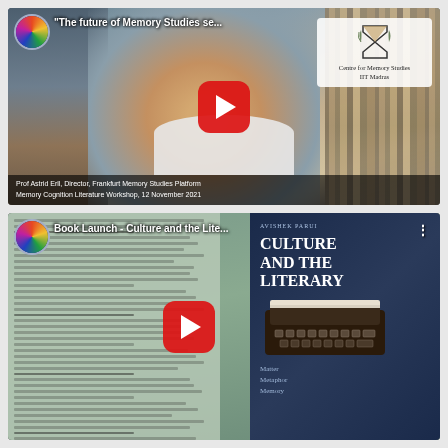[Figure (screenshot): YouTube video thumbnail: Prof Astrid Erll speaking on 'The future of Memory Studies se...' with Centre for Memory Studies IIT Madras logo, Memory Cognition Literature Workshop, 12 November 2021]
[Figure (screenshot): YouTube video thumbnail: Book Launch - Culture and the Lite... featuring book cover 'Culture and the Literary: Matter Metaphor Memory' by Avishek Parui]